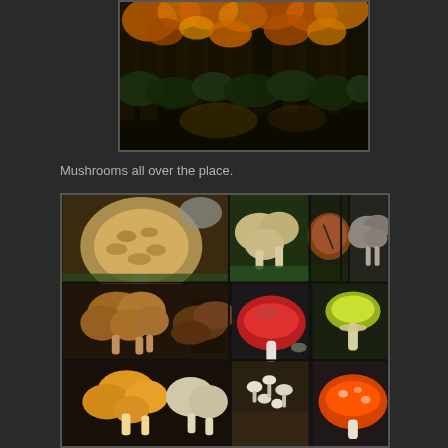[Figure (photo): Autumn forest scene with orange and yellow foliage on trees, dark background of woodland shrubs and ground]
Mushrooms all over the place.
[Figure (photo): Collage of various mushroom photos: top row shows a large scaly mushroom cap, cluster of beige mushrooms, a round brown puffball, and small clustered grey mushrooms. Middle row shows clusters of small brown mushrooms, dark bracket fungi, a red russula mushroom, and a yellow-green amanita. Bottom row shows golden oyster mushrooms, smooth round pale mushrooms, scattered small white mushrooms, and an orange-red amanita.]